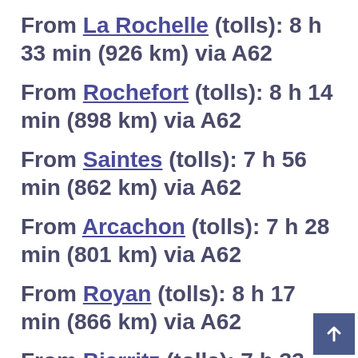From La Rochelle (tolls): 8 h 33 min (926 km) via A62
From Rochefort (tolls): 8 h 14 min (898 km) via A62
From Saintes (tolls): 7 h 56 min (862 km) via A62
From Arcachon (tolls): 7 h 28 min (801 km) via A62
From Royan (tolls): 8 h 17 min (866 km) via A62
From Biarritz (tolls): 7 h 33 min (809 km) via